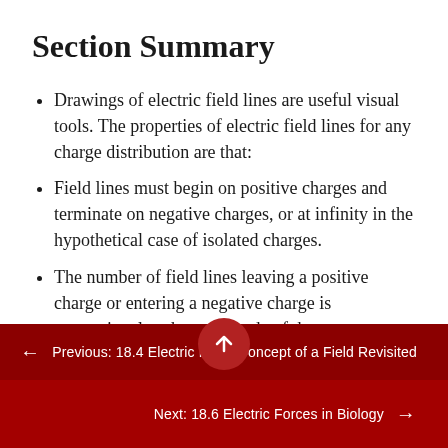Section Summary
Drawings of electric field lines are useful visual tools. The properties of electric field lines for any charge distribution are that:
Field lines must begin on positive charges and terminate on negative charges, or at infinity in the hypothetical case of isolated charges.
The number of field lines leaving a positive charge or entering a negative charge is proportional to the magnitude of the
← Previous: 18.4 Electric Field: Concept of a Field Revisited
Next: 18.6 Electric Forces in Biology →